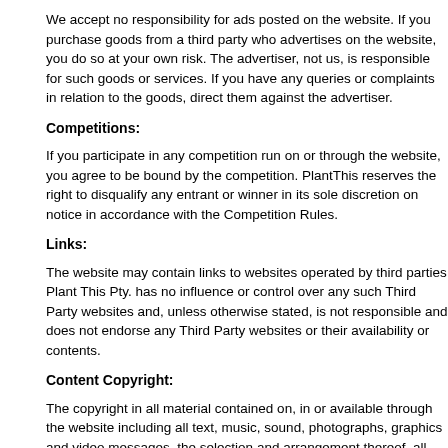We accept no responsibility for ads posted on the website. If you purchase goods from a third party who advertises on the website, you do so at your own risk. The advertiser, not us, is responsible for such goods or services. If you have any queries or complaints in relation to the goods, direct them against the advertiser.
Competitions:
If you participate in any competition run on or through the website, you agree to be bound by the competition. PlantThis reserves the right to disqualify any entrant or winner in its sole discretion on notice in accordance with the Competition Rules.
Links:
The website may contain links to websites operated by third parties Plant This Pty. has no influence or control over any such Third Party websites and, unless otherwise stated, is not responsible and does not endorse any Third Party websites or their availability or contents.
Content Copyright:
The copyright in all material contained on, in or available through the website including all text, music, sound, photographs, graphics and video messages, the selection and arrangement thereof, all source code, software compilations and other material is owned by – or licensed to – us. All rights are reserved.
You can view, print or download extracts of the material for your own personal use but you may not copy, edit, vary, reproduce, publish, display, distribute, store, transmit, commercially exploit, disseminate in any form whatsoever or use the material – other than content posted by you – without the written consent of PlantThis. You must not frame or link to the website or any part of it without our written consent.
The trademarks, service marks, and logos contained on or in the website are owned